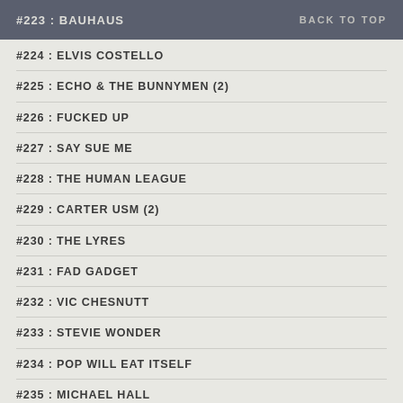#223 : BAUHAUS   BACK TO TOP
#224 : ELVIS COSTELLO
#225 : ECHO & THE BUNNYMEN (2)
#226 : FUCKED UP
#227 : SAY SUE ME
#228 : THE HUMAN LEAGUE
#229 : CARTER USM (2)
#230 : THE LYRES
#231 : FAD GADGET
#232 : VIC CHESNUTT
#233 : STEVIE WONDER
#234 : POP WILL EAT ITSELF
#235 : MICHAEL HALL